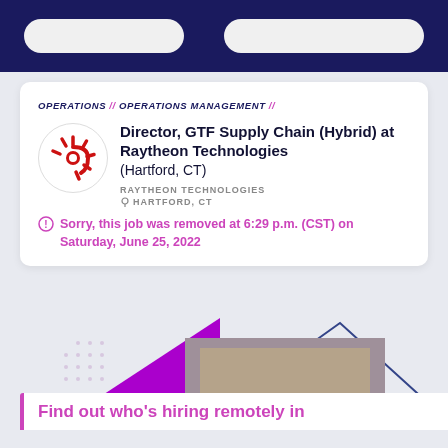OPERATIONS // OPERATIONS MANAGEMENT //
Director, GTF Supply Chain (Hybrid) at Raytheon Technologies (Hartford, CT)
RAYTHEON TECHNOLOGIES
HARTFORD, CT
Sorry, this job was removed at 6:29 p.m. (CST) on Saturday, June 25, 2022
[Figure (infographic): Decorative promotional graphic with purple/magenta triangles and a photo of people, with dotted pattern]
Find out who's hiring remotely in